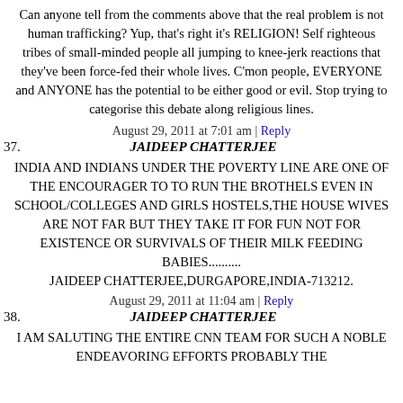Can anyone tell from the comments above that the real problem is not human trafficking? Yup, that's right it's RELIGION! Self righteous tribes of small-minded people all jumping to knee-jerk reactions that they've been force-fed their whole lives. C'mon people, EVERYONE and ANYONE has the potential to be either good or evil. Stop trying to categorise this debate along religious lines.
August 29, 2011 at 7:01 am | Reply
37. JAIDEEP CHATTERJEE
INDIA AND INDIANS UNDER THE POVERTY LINE ARE ONE OF THE ENCOURAGER TO TO RUN THE BROTHELS EVEN IN SCHOOL/COLLEGES AND GIRLS HOSTELS,THE HOUSE WIVES ARE NOT FAR BUT THEY TAKE IT FOR FUN NOT FOR EXISTENCE OR SURVIVALS OF THEIR MILK FEEDING BABIES.......... JAIDEEP CHATTERJEE,DURGAPORE,INDIA-713212.
August 29, 2011 at 11:04 am | Reply
38. JAIDEEP CHATTERJEE
I AM SALUTING THE ENTIRE CNN TEAM FOR SUCH A NOBLE ENDEAVORING EFFORTS PROBABLY THE